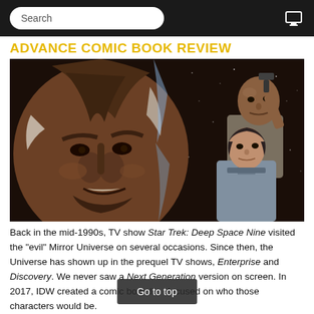Search
ADVANCE COMIC BOOK REVIEW
[Figure (illustration): Comic book cover art showing a close-up of a Klingon alien face on the left, with two Star Trek characters (a man holding a gun and a woman in uniform) on the right against a dark starfield background.]
Back in the mid-1990s, TV show Star Trek: Deep Space Nine visited the "evil" Mirror Universe on several occasions. Since then, the Universe has shown up in the prequel TV shows, Enterprise and Discovery. We never saw a Next Generation version on screen. In 2017, IDW created a comic book li focused on who those characters would be.